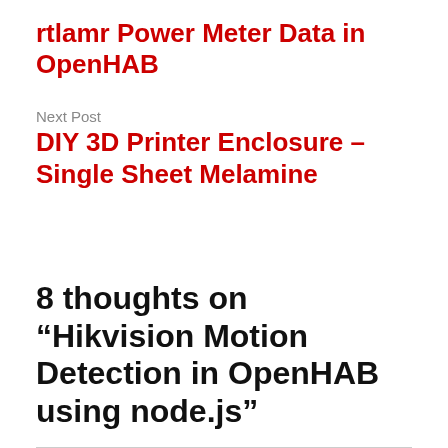rtlamr Power Meter Data in OpenHAB
Next Post
DIY 3D Printer Enclosure – Single Sheet Melamine
8 thoughts on “Hikvision Motion Detection in OpenHAB using node.js”